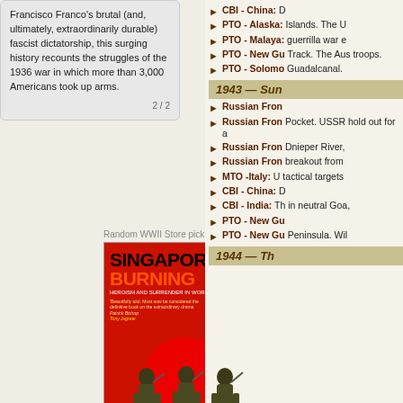Francisco Franco's brutal (and, ultimately, extraordinarily durable) fascist dictatorship, this surging history recounts the struggles of the 1936 war in which more than 3,000 Americans took up arms.
2 / 2
[Figure (illustration): Book cover for 'Singapore Burning: Heroism and Surrender in World War II' by Colin Smith. Red background with black bold title text, three soldiers silhouetted against a red circle.]
Singapore Burning: Heroism and Surrender in World War II
Paperback (688 pages), kindle
CBI - China: D
PTO - Alaska: Islands. The U
PTO - Malaya: guerrilla war e
PTO - New Gu Track. The Aus troops.
PTO - Solomo Guadalcanal.
1943 — Sun
Russian Fron
Russian Fron Pocket. USSR hold out for a
Russian Fron Dnieper River,
Russian Fron breakout from
MTO -Italy: U tactical target
CBI - China: D
CBI - India: Th in neutral Goa,
PTO - New Gu
PTO - New Gu Peninsula. Wil
1944 — Th